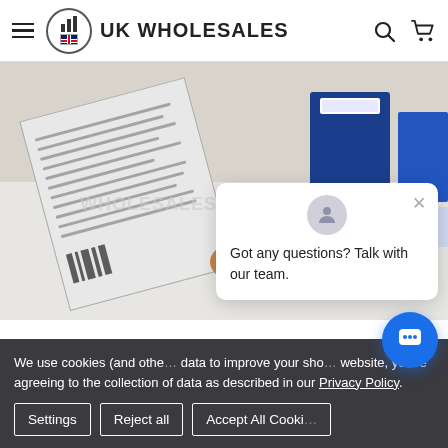UK WHOLESALES
[Figure (photo): Hands holding and examining a small medical test kit with QR code and packaging, with printed leaflets in the background. Watermark: WHOLESALES.CO.U...]
We use cookies (and other data to improve your sho... website, you're agreeing to the collection of data as described in our Privacy Policy.
Got any questions? Talk with our team.
Settings | Reject all | Accept All Cookies